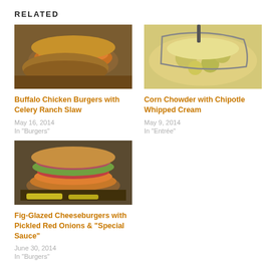RELATED
[Figure (photo): Photo of Buffalo Chicken Burgers with Celery Ranch Slaw — two stacked burgers with orange sauce on a wooden surface]
Buffalo Chicken Burgers with Celery Ranch Slaw
May 16, 2014
In "Burgers"
[Figure (photo): Photo of Corn Chowder with Chipotle Whipped Cream — creamy chowder with vegetables on a spoon]
Corn Chowder with Chipotle Whipped Cream
May 9, 2014
In "Entrée"
[Figure (photo): Photo of Fig-Glazed Cheeseburgers with Pickled Red Onions & Special Sauce — burger with toppings and orange sauce]
Fig-Glazed Cheeseburgers with Pickled Red Onions & "Special Sauce"
June 30, 2014
In "Burgers"